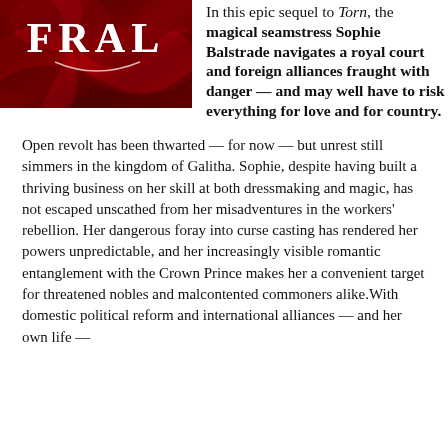[Figure (photo): Book cover with red fabric background and white stylized text logo visible at top]
In this epic sequel to Torn, the magical seamstress Sophie Balstrade navigates a royal court and foreign alliances fraught with danger — and may well have to risk everything for love and for country.
Open revolt has been thwarted — for now — but unrest still simmers in the kingdom of Galitha. Sophie, despite having built a thriving business on her skill at both dressmaking and magic, has not escaped unscathed from her misadventures in the workers' rebellion. Her dangerous foray into curse casting has rendered her powers unpredictable, and her increasingly visible romantic entanglement with the Crown Prince makes her a convenient target for threatened nobles and malcontented commoners alike.With domestic political reform and international alliances — and her own life —